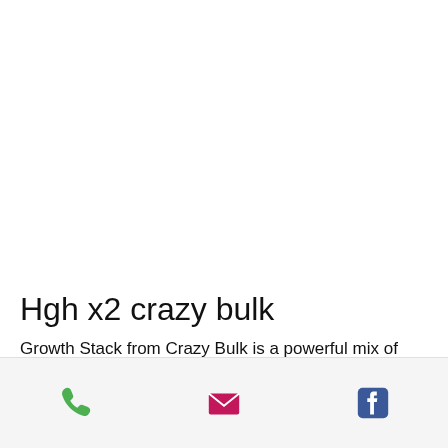Hgh x2 crazy bulk
Growth Stack from Crazy Bulk is a powerful mix of HGH and testosterone boosters and two bulking steroids to help you gain muscle when dieting for fat loss
[Figure (other): Mobile app bottom navigation bar with phone, email, and Facebook icons]